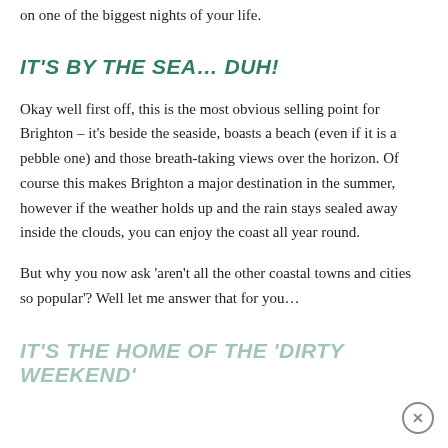on one of the biggest nights of your life.
IT'S BY THE SEA… DUH!
Okay well first off, this is the most obvious selling point for Brighton – it's beside the seaside, boasts a beach (even if it is a pebble one) and those breath-taking views over the horizon. Of course this makes Brighton a major destination in the summer, however if the weather holds up and the rain stays sealed away inside the clouds, you can enjoy the coast all year round.
But why you now ask 'aren't all the other coastal towns and cities so popular'? Well let me answer that for you…
IT'S THE HOME OF THE 'DIRTY WEEKEND'